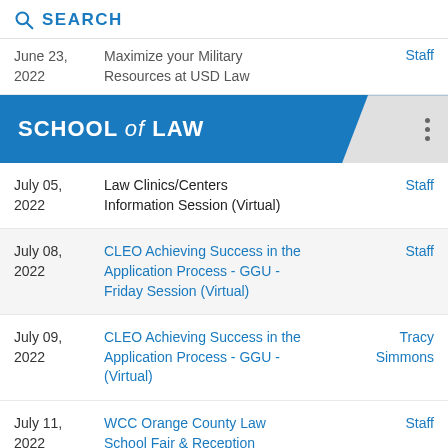SEARCH
| Date | Event | Person |
| --- | --- | --- |
| June 23, 2022 | Maximize your Military Resources at USD Law | Staff |
| July 05, 2022 | Law Clinics/Centers Information Session (Virtual) | Staff |
| July 08, 2022 | CLEO Achieving Success in the Application Process - GGU - Friday Session (Virtual) | Staff |
| July 09, 2022 | CLEO Achieving Success in the Application Process - GGU - (Virtual) | Tracy Simmons |
| July 11, 2022 | WCC Orange County Law School Fair & Reception | Staff |